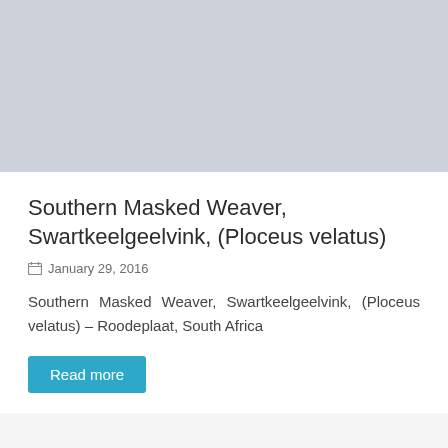[Figure (photo): Gray placeholder image at the top of the page]
Southern Masked Weaver, Swartkeelgeelvink, (Ploceus velatus)
January 29, 2016
Southern Masked Weaver, Swartkeelgeelvink, (Ploceus velatus) – Roodeplaat, South Africa
Read more
[Figure (photo): Gray placeholder image at the bottom of the page]